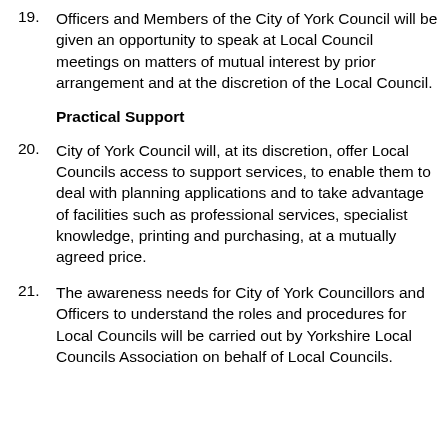19. Officers and Members of the City of York Council will be given an opportunity to speak at Local Council meetings on matters of mutual interest by prior arrangement and at the discretion of the Local Council.
Practical Support
20. City of York Council will, at its discretion, offer Local Councils access to support services, to enable them to deal with planning applications and to take advantage of facilities such as professional services, specialist knowledge, printing and purchasing, at a mutually agreed price.
21. The awareness needs for City of York Councillors and Officers to understand the roles and procedures for Local Councils will be carried out by Yorkshire Local Councils Association on behalf of Local Councils.